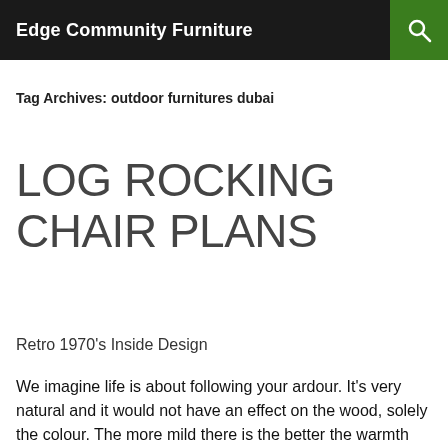Edge Community Furniture
Tag Archives: outdoor furnitures dubai
LOG ROCKING CHAIR PLANS
Retro 1970's Inside Design
We imagine life is about following your ardour. It's very natural and it would not have an effect on the wood, solely the colour. The more mild there is the better the warmth and lots of home hydroponic gardens are in smaller areas with little in the way